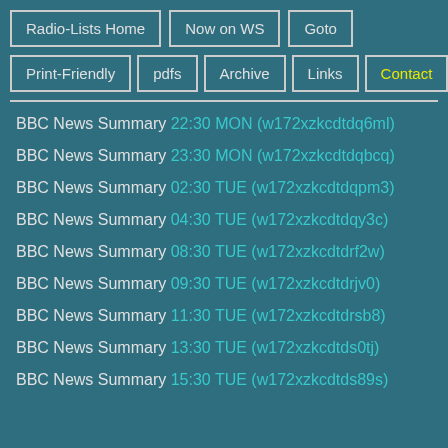Radio-Lists Home
Now on WS
Goto
Print-Friendly
pdfs
Archive
Links
Contact
BBC News Summary 22:30 MON (w172xzkcdtdq6ml)
BBC News Summary 23:30 MON (w172xzkcdtdqbcq)
BBC News Summary 02:30 TUE (w172xzkcdtdqpm3)
BBC News Summary 04:30 TUE (w172xzkcdtdqy3c)
BBC News Summary 08:30 TUE (w172xzkcdtdrf2w)
BBC News Summary 09:30 TUE (w172xzkcdtdrjv0)
BBC News Summary 11:30 TUE (w172xzkcdtdrsb8)
BBC News Summary 13:30 TUE (w172xzkcdtds0tj)
BBC News Summary 15:30 TUE (w172xzkcdtds89s)